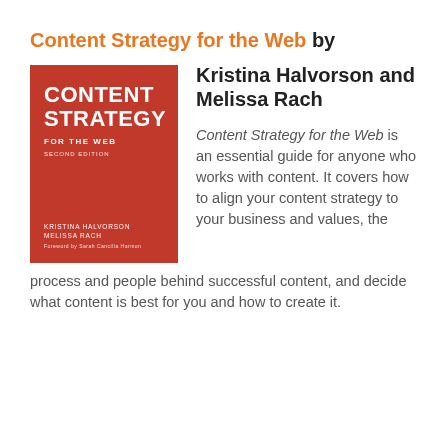Content Strategy for the Web by Kristina Halvorson and Melissa Rach
[Figure (illustration): Book cover of 'Content Strategy for the Web, Second Edition' by Kristina Halvorson and Melissa Rach. Red background with white bold text showing title 'CONTENT STRATEGY FOR THE WEB SECOND EDITION' and author names at the bottom.]
Content Strategy for the Web is an essential guide for anyone who works with content. It covers how to align your content strategy to your business and values, the process and people behind successful content, and decide what content is best for you and how to create it.